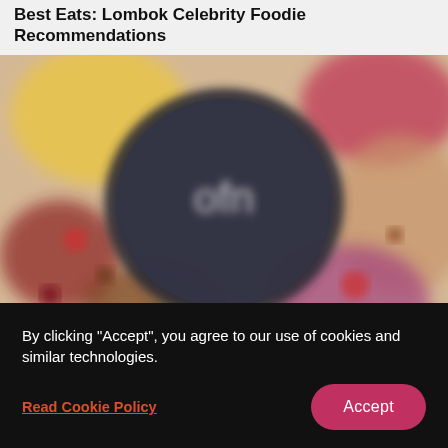Best Eats: Lombok Celebrity Foodie Recommendations
[Figure (photo): Blurred food photography showing colorful ingredients and spices arranged around a dark frying pan with the logo 'ofn' in the center]
By clicking "Accept", you agree to our use of cookies and similar technologies.
Read Cookie Policy
Accept